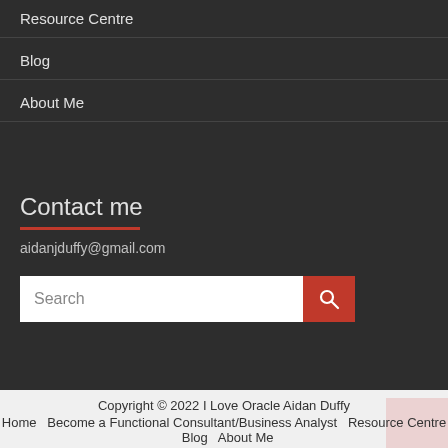Resource Centre
Blog
About Me
Contact me
aidanjduffy@gmail.com
[Figure (other): Search bar with red search button]
Copyright © 2022 I Love Oracle Aidan Duffy
Home   Become a Functional Consultant/Business Analyst   Resource Centre   Blog   About Me